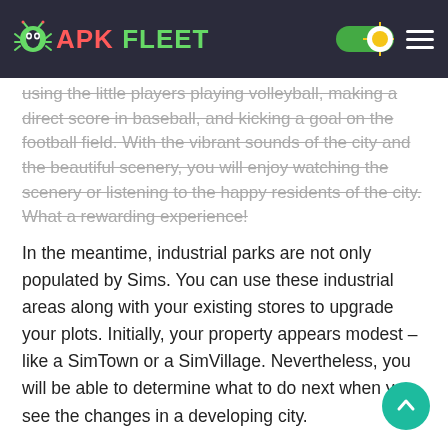APK FLEET
using the little players playing volleyball, making a direct score in baseball, and kicking a goal on the football field. With the vibrant sounds of the city and the beautiful scenery, you will enjoy watching the scenery or listening to the happy residents of the city. What a rewarding experience!
In the meantime, industrial parks are not only populated by Sims. You can use these industrial areas along with your existing stores to upgrade your plots. Initially, your property appears modest – like a SimTown or a SimVillage. Nevertheless, you will be able to determine what to do next when you see the changes in a developing city.
It must be exciting to see the world in flames, yet some people just want to see the world in flames. Dr. Vu is available to help you devastate a city when it is big enough with many types of disasters, from meteorites to alien invasions. Demolition is